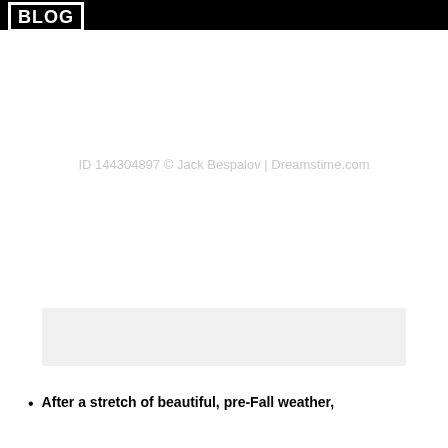BLOG
[Figure (other): Watermark text overlay on white background: ID 144304897 © Jack Bespalov | Dreamstime.com]
[Figure (other): Light gray placeholder/image box]
After a stretch of beautiful, pre-Fall weather,